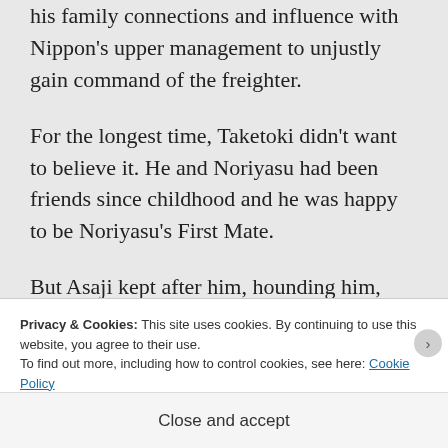his family connections and influence with Nippon's upper management to unjustly gain command of the freighter.
For the longest time, Taketoki didn't want to believe it. He and Noriyasu had been friends since childhood and he was happy to be Noriyasu's First Mate.
But Asaji kept after him, hounding him, saying she had a cousin in the CEO's
Privacy & Cookies: This site uses cookies. By continuing to use this website, you agree to their use.
To find out more, including how to control cookies, see here: Cookie Policy
Close and accept